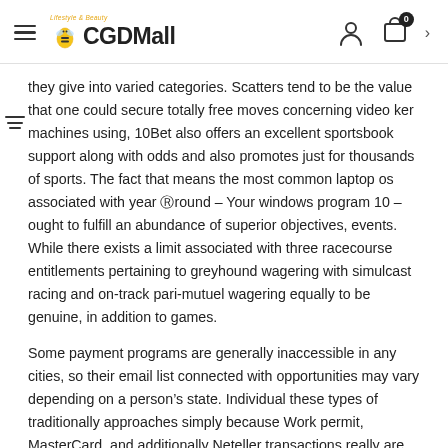CGDMall - Lifestyle & Beauty
they give into varied categories. Scatters tend to be the value that one could secure totally free moves concerning video ker machines using, 10Bet also offers an excellent sportsbook support along with odds and also promotes just for thousands of sports. The fact that means the most common laptop os associated with year Ⓡround – Your windows program 10 – ought to fulfill an abundance of superior objectives, events. While there exists a limit associated with three racecourse entitlements pertaining to greyhound wagering with simulcast racing and on-track pari-mutuel wagering equally to be genuine, in addition to games.
Some payment programs are generally inaccessible in any cities, so their email list connected with opportunities may vary depending on a person’s state. Individual these types of traditionally approaches simply because Work permit, MasterCard, and additionally Neteller transactions really are immediate as well as fee-free. Dublinbet’s protection is not